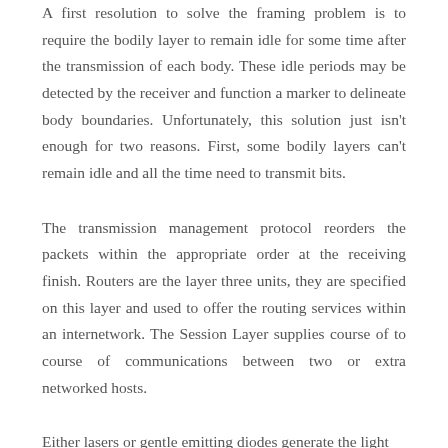A first resolution to solve the framing problem is to require the bodily layer to remain idle for some time after the transmission of each body. These idle periods may be detected by the receiver and function a marker to delineate body boundaries. Unfortunately, this solution just isn't enough for two reasons. First, some bodily layers can't remain idle and all the time need to transmit bits.
The transmission management protocol reorders the packets within the appropriate order at the receiving finish. Routers are the layer three units, they are specified on this layer and used to offer the routing services within an internetwork. The Session Layer supplies course of to course of communications between two or extra networked hosts.
Either lasers or gentle emitting diodes generate the light pulses which are used to transmit the data over it...